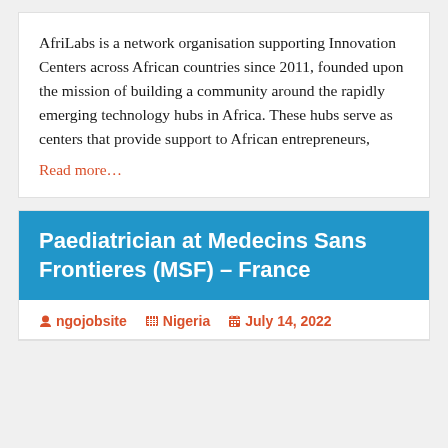AfriLabs is a network organisation supporting Innovation Centers across African countries since 2011, founded upon the mission of building a community around the rapidly emerging technology hubs in Africa. These hubs serve as centers that provide support to African entrepreneurs,
Read more...
Paediatrician at Medecins Sans Frontieres (MSF) – France
ngojobsite   Nigeria   July 14, 2022